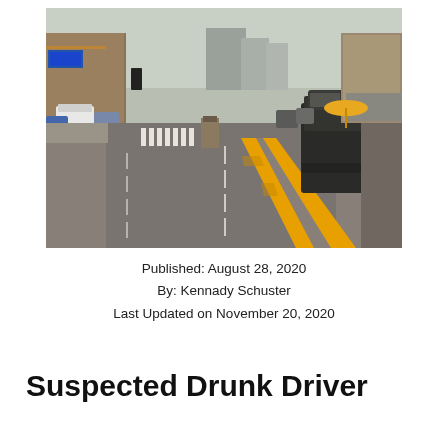[Figure (photo): Street-level photo of an urban multi-lane road with yellow center lane markings, vehicles including an SUV on the right, storefronts and commercial buildings visible on the left, and taller buildings in the background under a hazy sky.]
Published: August 28, 2020
By: Kennady Schuster
Last Updated on November 20, 2020
Suspected Drunk Driver Arrested For Crashing...